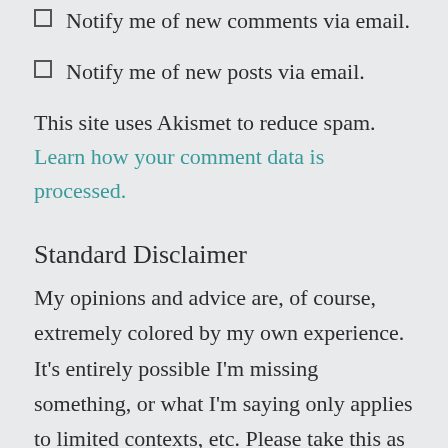Notify me of new comments via email.
Notify me of new posts via email.
This site uses Akismet to reduce spam. Learn how your comment data is processed.
Standard Disclaimer
My opinions and advice are, of course, extremely colored by my own experience. It's entirely possible I'm missing something, or what I'm saying only applies to limited contexts, etc. Please take this as a well-meaning resource, but feel free to be skeptical!
All feedback welcome, so long as it's well-intentioned and understands that this is one man's perspective –